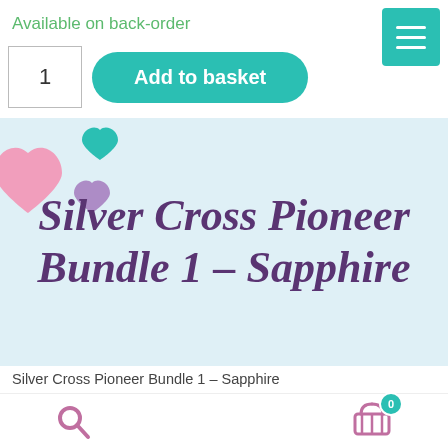Available on back-order
[Figure (screenshot): Add to basket button with quantity input field showing 1, and a teal hamburger menu icon in top right corner]
[Figure (illustration): Light blue banner background with pink, teal, and purple heart decorations in the top left corner]
Silver Cross Pioneer Bundle 1 – Sapphire
Silver Cross Pioneer Bundle 1 – Sapphire
[Figure (illustration): Bottom navigation bar with pink search magnifying glass icon on left and teal shopping basket icon with 0 badge on right]